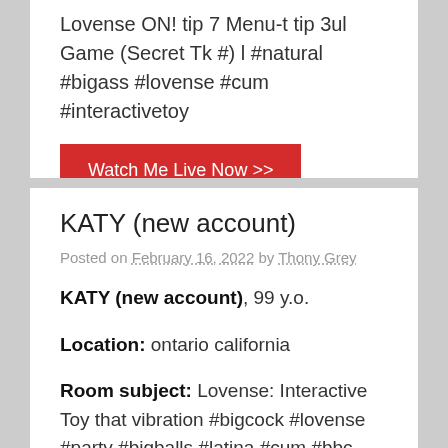Lovense ON! tip 7 Menu-t tip 3ul Game (Secret Tk #) l #natural #bigass #lovense #cum #interactivetoy
Watch Me Live Now >>
KATY (new account)
Posted on February 16, 2022 by Thony Grey
KATY (new account), 99 y.o.
Location: ontario california
Room subject: Lovense: Interactive Toy that vibration #bigcock #lovense #party #bigballs #latina #cum #bbc #ass #mistress #18 #trans